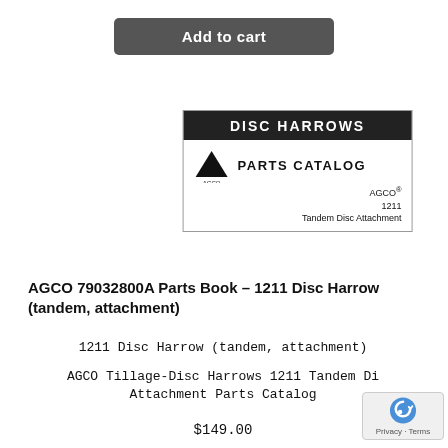Add to cart
[Figure (illustration): AGCO Disc Harrows Parts Catalog cover showing black title bar with 'DISC HARROWS', AGCO logo triangle, 'PARTS CATALOG' text, AGCO 1211 Tandem Disc Attachment details]
AGCO 79032800A Parts Book – 1211 Disc Harrow (tandem, attachment)
1211 Disc Harrow (tandem, attachment)
AGCO Tillage-Disc Harrows 1211 Tandem Disc Attachment Parts Catalog
$149.00